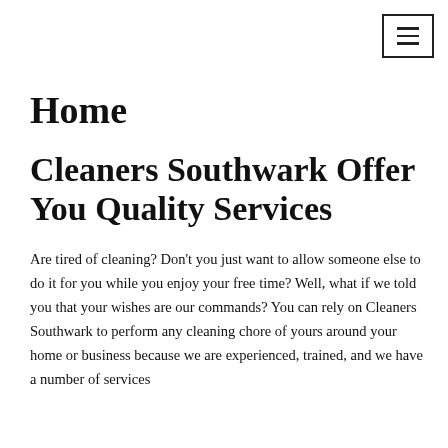[Figure (other): Hamburger menu button icon (three horizontal lines) inside a rectangular border, positioned top-right]
Home
Cleaners Southwark Offer You Quality Services
Are tired of cleaning? Don't you just want to allow someone else to do it for you while you enjoy your free time? Well, what if we told you that your wishes are our commands? You can rely on Cleaners Southwark to perform any cleaning chore of yours around your home or business because we are experienced, trained, and we have a number of services